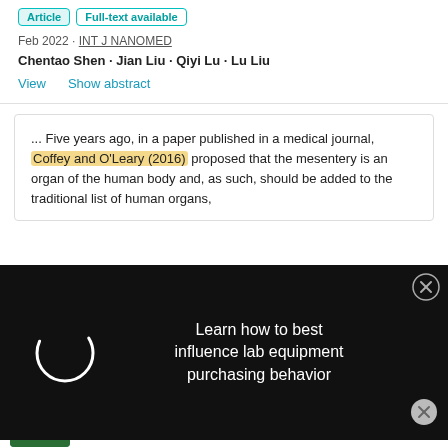[Figure (other): Article badge and Full-text available badge]
Feb 2022 · INT J NANOMED
Chentao Shen · Jian Liu · Qiyi Lu · Lu Liu
View    Show abstract
... Five years ago, in a paper published in a medical journal, Coffey and O'Leary (2016) proposed that the mesentery is an organ of the human body and, as such, should be added to the traditional list of human organs,
[Figure (other): Advertisement overlay with dark background, spinner circle, and text: Learn how to best influence lab equipment purchasing behavior, with close X button]
[Figure (other): Bottom advertisement showing Cytiva branded content with 25% statistic image and headline: Biopharma's talent threat]